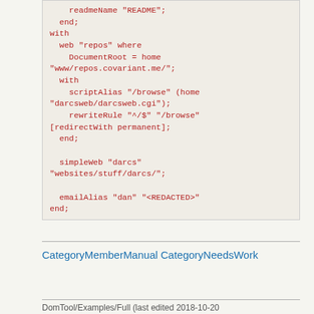readmeName "README";
  end;
with
  web "repos" where
    DocumentRoot = home "www/repos.covariant.me/";
  with
    scriptAlias "/browse" (home "darcsweb/darcsweb.cgi");
    rewriteRule "^/$" "/browse" [redirectWith permanent];
  end;

  simpleWeb "darcs" "websites/stuff/darcs/";

  emailAlias "dan" "<REDACTED>"
end;
CategoryMemberManual CategoryNeedsWork
DomTool/Examples/Full (last edited 2018-10-20